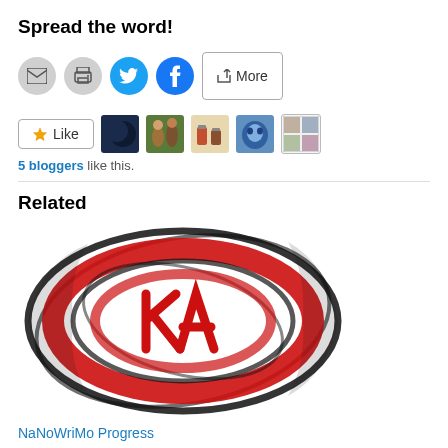Spread the word!
[Figure (screenshot): Row of share/action buttons: email (gray circle), print (gray circle), Twitter (blue circle with bird), Facebook (blue circle with f), and a More button with share icon]
[Figure (screenshot): Like button with star icon, followed by 5 blogger avatar thumbnails]
5 bloggers like this.
Related
[Figure (logo): Black and red circular swirl logo with letters KA in the center in red brush style]
NaNoWriMo Progress